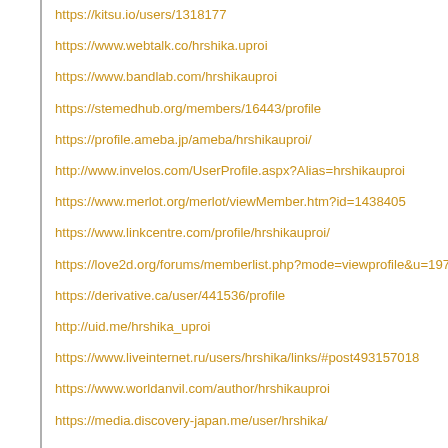https://kitsu.io/users/1318177
https://www.webtalk.co/hrshika.uproi
https://www.bandlab.com/hrshikauproi
https://stemedhub.org/members/16443/profile
https://profile.ameba.jp/ameba/hrshikauproi/
http://www.invelos.com/UserProfile.aspx?Alias=hrshikauproi
https://www.merlot.org/merlot/viewMember.htm?id=1438405
https://www.linkcentre.com/profile/hrshikauproi/
https://love2d.org/forums/memberlist.php?mode=viewprofile&u=197687
https://derivative.ca/user/441536/profile
http://uid.me/hrshika_uproi
https://www.liveinternet.ru/users/hrshika/links/#post493157018
https://www.worldanvil.com/author/hrshikauproi
https://media.discovery-japan.me/user/hrshika/